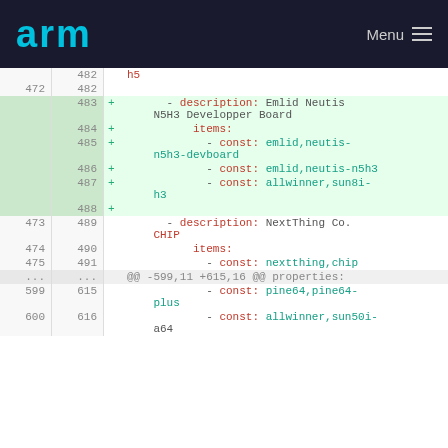arm  Menu
Code diff showing lines 471-616 of a device tree YAML file with allwinner/sun8i-h5, Emlid Neutis N5H3 Developper Board entries, nextthing,chip, pine64,pine64-plus, allwinner,sun50i-a64
| old | new | sign | code |
| --- | --- | --- | --- |
|  | 482 |  |  |
|  | 483 | + |       - description: Emlid Neutis N5H3 Developper Board |
|  | 484 | + |           items: |
|  | 485 | + |             - const: emlid,neutis-n5h3-devboard |
|  | 486 | + |             - const: emlid,neutis-n5h3 |
|  | 487 | + |             - const: allwinner,sun8i-h3 |
|  | 488 | + |  |
| 473 | 489 |  |       - description: NextThing Co. CHIP |
| 474 | 490 |  |           items: |
| 475 | 491 |  |             - const: nextthing,chip |
| ... | ... |  | @@ -599,11 +615,16 @@ properties: |
| 599 | 615 |  |             - const: pine64,pine64-plus |
| 600 | 616 |  |             - const: allwinner,sun50i-a64 |